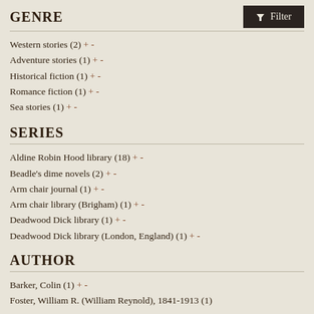GENRE
Western stories (2) + -
Adventure stories (1) + -
Historical fiction (1) + -
Romance fiction (1) + -
Sea stories (1) + -
SERIES
Aldine Robin Hood library (18) + -
Beadle's dime novels (2) + -
Arm chair journal (1) + -
Arm chair library (Brigham) (1) + -
Deadwood Dick library (1) + -
Deadwood Dick library (London, England) (1) + -
AUTHOR
Barker, Colin (1) + -
Foster, William R. (William Reynold), 1841-1913 (1)